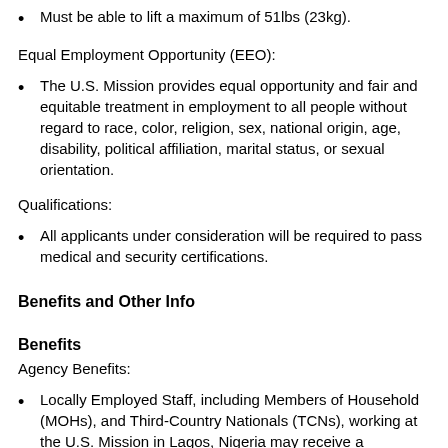Must be able to lift a maximum of 51lbs (23kg).
Equal Employment Opportunity (EEO):
The U.S. Mission provides equal opportunity and fair and equitable treatment in employment to all people without regard to race, color, religion, sex, national origin, age, disability, political affiliation, marital status, or sexual orientation.
Qualifications:
All applicants under consideration will be required to pass medical and security certifications.
Benefits and Other Info
Benefits
Agency Benefits:
Locally Employed Staff, including Members of Household (MOHs), and Third-Country Nationals (TCNs), working at the U.S. Mission in Lagos, Nigeria may receive a compensation package that may include health, separation, and other benefits.
For EFMs, benefits should be discussed with the Human